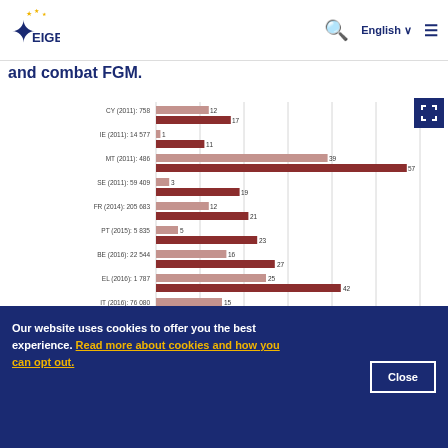[Figure (other): EIGE logo with star and figure icon]
and combat FGM.
[Figure (bar-chart): Percentage]
Our website uses cookies to offer you the best experience. Read more about cookies and how you can opt out.